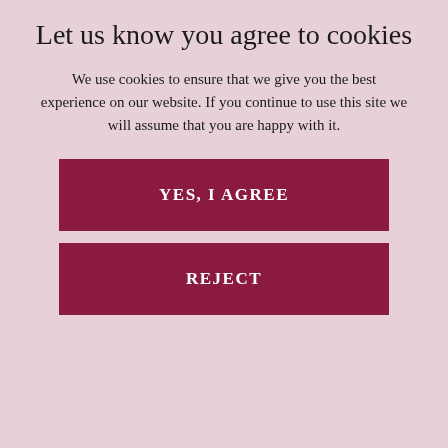Let us know you agree to cookies
We use cookies to ensure that we give you the best experience on our website. If you continue to use this site we will assume that you are happy with it.
YES, I AGREE
REJECT
[Figure (logo): Fleet Street Clinic logo in white text on dark red background with decorative border]
Bookings
020 7353 5678